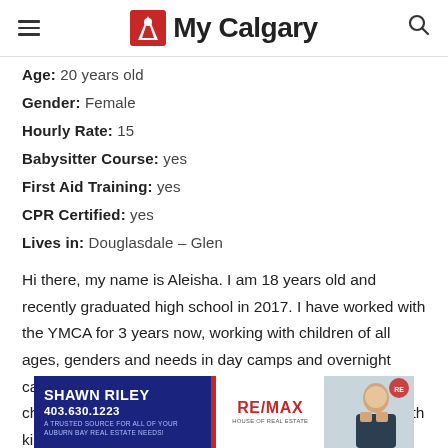My Calgary
Age:  20 years old
Gender:  Female
Hourly Rate:  15
Babysitter Course:  yes
First Aid Training:  yes
CPR Certified:  yes
Lives in:  Douglasdale – Glen
Hi there, my name is Aleisha. I am 18 years old and recently graduated high school in 2017. I have worked with the YMCA for 3 years now, working with children of all ages, genders and needs in day camps and overnight camps. I have experience working with infants, toddlers, children and preteens. I also have experience working with kids who have
[Figure (advertisement): Real estate advertisement for Shawn Riley, RE/MAX, phone 403.630.1223, with photo of agent]